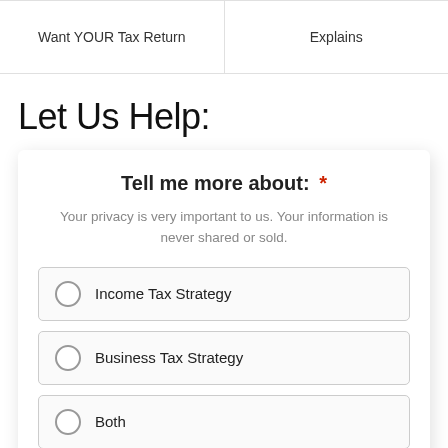| Want YOUR Tax Return | Explains |
| --- | --- |
Let Us Help:
Tell me more about: *
Your privacy is very important to us. Your information is never shared or sold.
Income Tax Strategy
Business Tax Strategy
Both